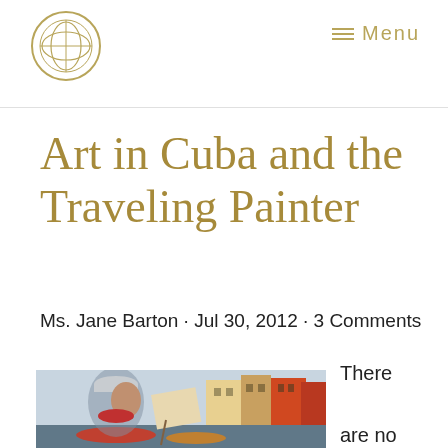Menu
Art in Cuba and the Traveling Painter
Ms. Jane Barton · Jul 30, 2012 · 3 Comments
[Figure (photo): A painter working outdoors near a canal with colorful buildings in the background, wearing a white cap and red bandana]
There are no starving artists in Cuba. One